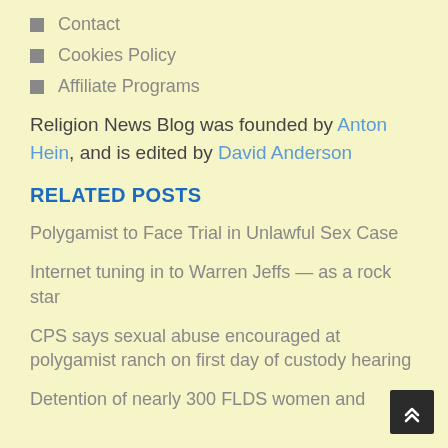Contact
Cookies Policy
Affiliate Programs
Religion News Blog was founded by Anton Hein, and is edited by David Anderson
RELATED POSTS
Polygamist to Face Trial in Unlawful Sex Case
Internet tuning in to Warren Jeffs — as a rock star
CPS says sexual abuse encouraged at polygamist ranch on first day of custody hearing
Detention of nearly 300 FLDS women and